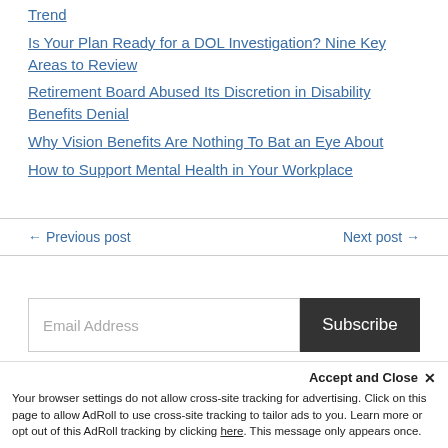Trend
Is Your Plan Ready for a DOL Investigation? Nine Key Areas to Review
Retirement Board Abused Its Discretion in Disability Benefits Denial
Why Vision Benefits Are Nothing To Bat an Eye About
How to Support Mental Health in Your Workplace
← Previous post    Next post →
Email Address  Subscribe
Visit www.ifebp.org
Accept and Close ✕
Your browser settings do not allow cross-site tracking for advertising. Click on this page to allow AdRoll to use cross-site tracking to tailor ads to you. Learn more or opt out of this AdRoll tracking by clicking here. This message only appears once.